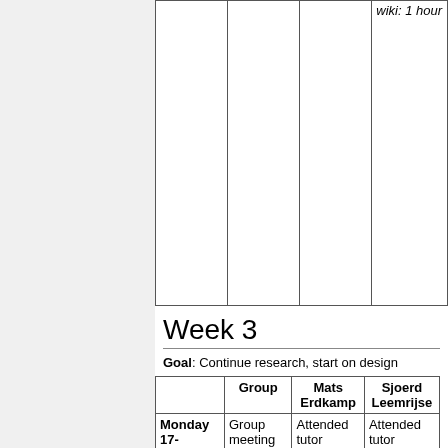|  | Group | Mats Erdkamp | Sjoerd Leemrijse |
| --- | --- | --- | --- |
|  |  | wiki: 1 hour |  |
| Monday 17- | Group meeting and | Attended tutor meeting: 30 minutes | Attended tutor meeting: 30 minutes |
Week 3
Goal: Continue research, start on design
|  | Group | Mats Erdkamp | Sjoerd Leemrijse |
| --- | --- | --- | --- |
| Monday 17- | Group meeting and | Attended tutor meeting: 30 minutes | Attended tutor meeting: 30 minutes |